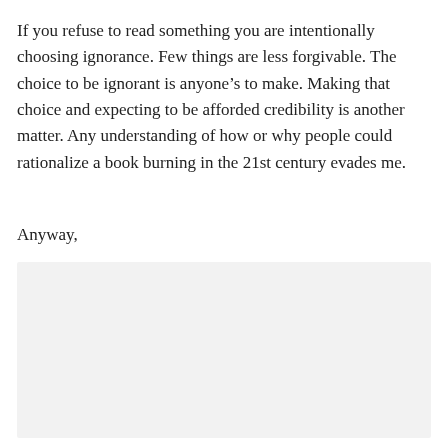If you refuse to read something you are intentionally choosing ignorance. Few things are less forgivable. The choice to be ignorant is anyone's to make. Making that choice and expecting to be afforded credibility is another matter. Any understanding of how or why people could rationalize a book burning in the 21st century evades me.
Anyway,
[Figure (other): A light gray rectangular placeholder image area]